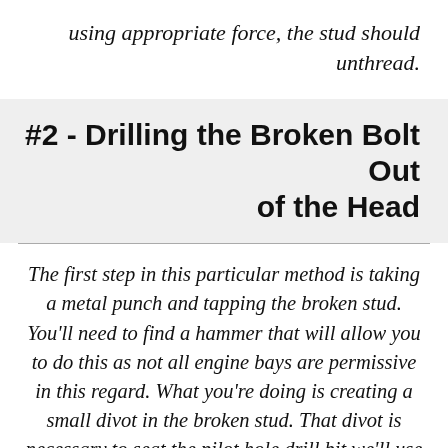using appropriate force, the stud should unthread.
#2 - Drilling the Broken Bolt Out of the Head
The first step in this particular method is taking a metal punch and tapping the broken stud. You'll need to find a hammer that will allow you to do this as not all engine bays are permissive in this regard. What you're doing is creating a small divot in the broken stud. That divot is necessary to seat the pilot hole drill bit we'll use to drill out the stud. Without punching a divot,